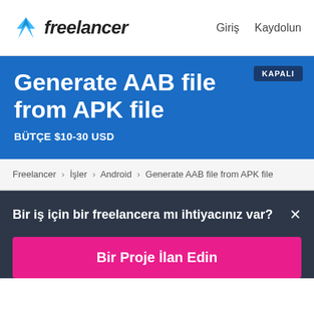freelancer  Giriş  Kaydolun
Generate AAB file from APK file
BÜTÇE $10-30 USD
KAPALI
Freelancer › İşler › Android › Generate AAB file from APK file
Bir iş için bir freelancera mı ihtiyacınız var? ×
Bir Proje İlan Edin